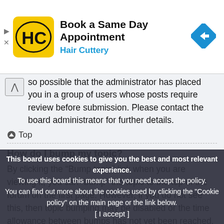[Figure (advertisement): Hair Cuttery ad banner: logo with HC initials on yellow background, text 'Book a Same Day Appointment' and 'Hair Cuttery' in blue, navigation arrow icon on right]
...so possible that the administrator has placed you in a group of users whose posts require review before submission. Please contact the board administrator for further details.
Top
How do I bump my topic?
By clicking the “Bump topic” link when you are viewing it, you can “bump” the topic to the top of the forum on the first page. However, if you do not see this, then topic bumping may be disabled or the time allowance between bumps has not yet been reached. It is also possible to bump the topic simply by replying to it, however, be sure to follow the board rules when doing so.
This board uses cookies to give you the best and most relevant experience. To use this board this means that you need accept the policy. You can find out more about the cookies used by clicking the "Cookie policy" on the main page or the link below.
[ I accept ]